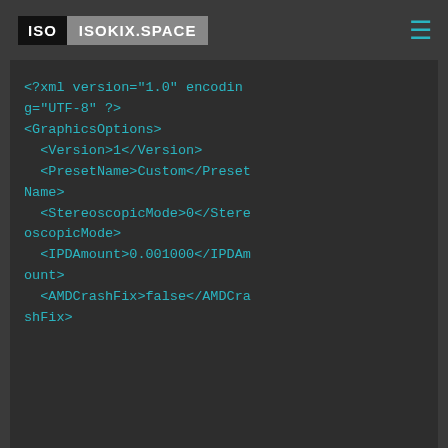ISO ISOKIX.SPACE
<?xml version="1.0" encoding="UTF-8" ?>
<GraphicsOptions>
  <Version>1</Version>
  <PresetName>Custom</PresetName>
  <StereoscopicMode>0</StereoscopicMode>
  <IPDAmount>0.001000</IPDAmount>
  <AMDCrashFix>false</AMDCrashFix>